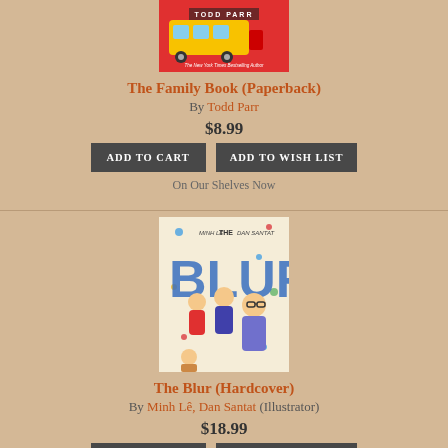[Figure (photo): Cover of The Family Book by Todd Parr, featuring colorful illustration with bus and Todd Parr branding]
The Family Book (Paperback)
By Todd Parr
$8.99
ADD TO CART
ADD TO WISH LIST
On Our Shelves Now
[Figure (photo): Cover of The Blur (Hardcover) by Minh Lê and Dan Santat, showing animated characters with blur text]
The Blur (Hardcover)
By Minh Lê, Dan Santat (Illustrator)
$18.99
ADD TO CART
ADD TO WISH LIST
On Our Shelves Now